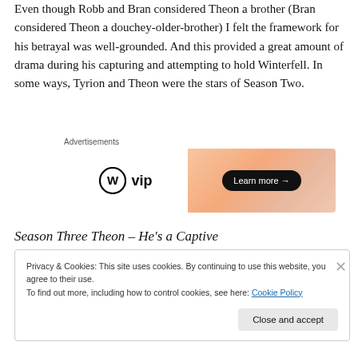Even though Robb and Bran considered Theon a brother (Bran considered Theon a douchey-older-brother) I felt the framework for his betrayal was well-grounded. And this provided a great amount of drama during his capturing and attempting to hold Winterfell. In some ways, Tyrion and Theon were the stars of Season Two.
[Figure (other): WordPress VIP advertisement banner with gradient orange/peach background and 'Learn more' button]
Season Three Theon – He's a Captive
Privacy & Cookies: This site uses cookies. By continuing to use this website, you agree to their use.
To find out more, including how to control cookies, see here: Cookie Policy